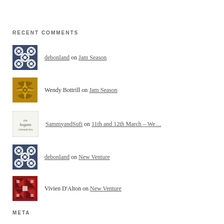RECENT COMMENTS
debonland on Jam Season
Wendy Bottrill on Jam Season
SammyandSufi on 11th and 12th March – We…
debonland on New Venture
Vivien D'Alton on New Venture
META